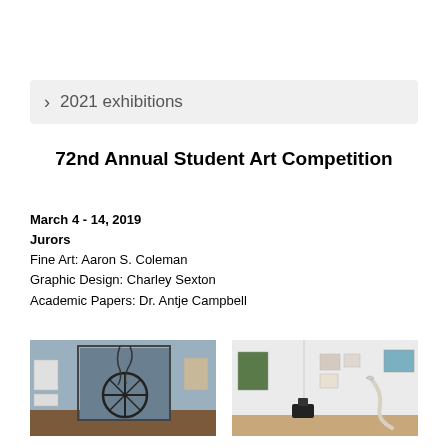> 2021 exhibitions
72nd Annual Student Art Competition
March 4 - 14, 2019
Jurors
Fine Art: Aaron S. Coleman
Graphic Design: Charley Sexton
Academic Papers: Dr. Antje Campbell
[Figure (photo): Gallery installation photo showing a sculptural artwork with a fan-like element and wires/branches against a blue-grey backdrop, with framed works visible on the wall to the left.]
[Figure (photo): Gallery installation photo showing white walls with multiple framed artworks hanging, a sculptural piece on the floor in the foreground, and a rope-like element extending along the wall.]